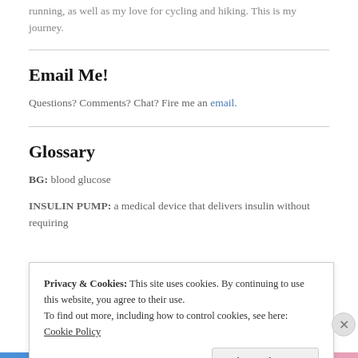running, as well as my love for cycling and hiking. This is my journey.
Email Me!
Questions? Comments? Chat? Fire me an email.
Glossary
BG: blood glucose
INSULIN PUMP: a medical device that delivers insulin without requiring
Privacy & Cookies: This site uses cookies. By continuing to use this website, you agree to their use. To find out more, including how to control cookies, see here: Cookie Policy
Close and accept